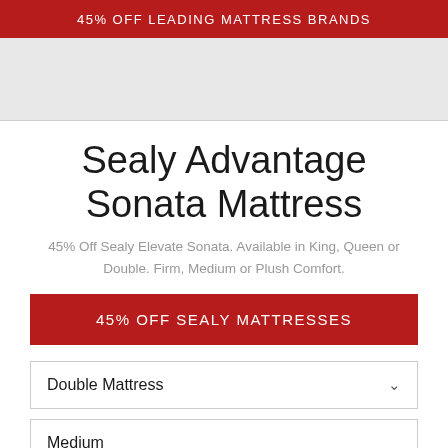45% OFF LEADING MATTRESS BRANDS
[Figure (photo): Product image placeholder area (mattress image)]
Sealy Advantage Sonata Mattress
45% Off Sealy Elevate Sonata. Available in King, Queen or Double. Firm, Medium or Plush Comfort.
45% OFF SEALY MATTRESSES
Double Mattress
Medium